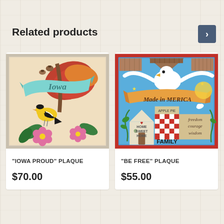Related products
[Figure (illustration): Iowa Proud plaque artwork showing a goldfinch bird, Iowa banner ribbon, autumn leaves, acorns, and pink flowers on a warm beige background]
"IOWA PROUD" PLAQUE
$70.00
[Figure (illustration): Be Free plaque artwork showing a bald eagle, Made in America banner, house with Home Sweet Home text, apple pie, checkered quilt pattern, Family text, freedom/courage/wisdom text, on a colorful red-bordered background]
"BE FREE" PLAQUE
$55.00